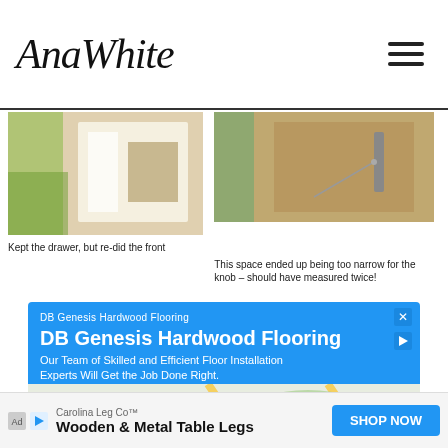AnaWhite
[Figure (photo): Photo of a drawer with white wooden front]
Kept the drawer, but re-did the front
[Figure (photo): Close-up photo of a narrow space for a knob on wooden furniture with an arrow pointing to the gap]
This space ended up being too narrow for the knob – should have measured twice!
[Figure (infographic): Advertisement for DB Genesis Hardwood Flooring with a Google Map showing location]
[Figure (infographic): Bottom banner advertisement for Carolina Leg Co Wooden & Metal Table Legs with Shop Now button]